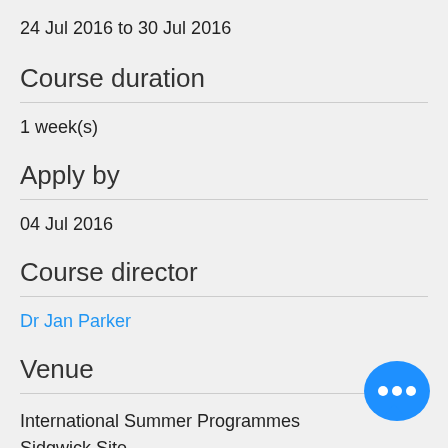24 Jul 2016 to 30 Jul 2016
Course duration
1 week(s)
Apply by
04 Jul 2016
Course director
Dr Jan Parker
Venue
International Summer Programmes
Sidgwick Site
[Figure (illustration): Blue chat bubble icon with three white dots]